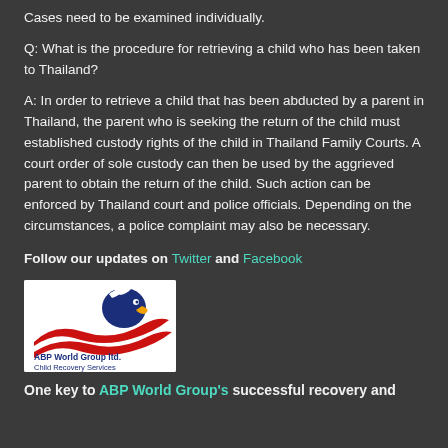Cases need to be examined individually.
Q: What is the procedure for retrieving a child who has been taken to Thailand?
A: In order to retrieve a child that has been abducted by a parent in Thailand, the parent who is seeking the return of the child must established custody rights of the child in Thailand Family Courts. A court order of sole custody can then be used by the aggrieved parent to obtain the return of the child. Such action can be enforced by Thailand court and police officials. Depending on the circumstances, a police complaint may also be necessary.
Follow our updates on Twitter and Facebook
[Figure (logo): ABP World Group ltd. Child Recovery Services logo with eagle head and red wave design]
One key to ABP World Group's successful recovery and